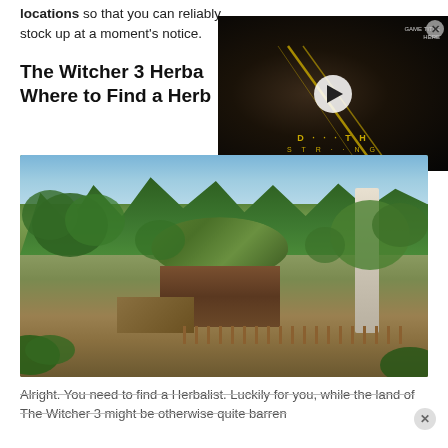locations so that you can reliably stock up at a moment's notice.
The Witcher 3 Herba... Where to Find a Herb...
[Figure (screenshot): Video thumbnail overlay showing a dark cinematic game screenshot with a hooded figure face, yellow diagonal lines, game title text in gold letters, and a white play button circle in the center. Close X button in top right.]
[Figure (screenshot): The Witcher 3 game screenshot showing an aerial view of a herbalist's hut with a thatched grass roof surrounded by trees, gardens, a birch tree, and wooden fence in a lush forest environment.]
Alright. You need to find a Herbalist. Luckily for you, while the land of The Witcher 3 might be otherwise quite barren